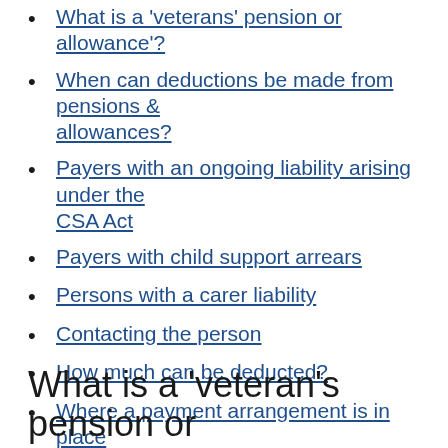What is a 'veterans' pension or allowance'?
When can deductions be made from pensions & allowances?
Payers with an ongoing liability arising under the CSA Act
Payers with child support arrears
Persons with a carer liability
Contacting the person
How much can be deducted?
Where a payment arrangement is in place
Collection from other sources
Hardship
Issuing a notice
What is a 'veteran's pension or